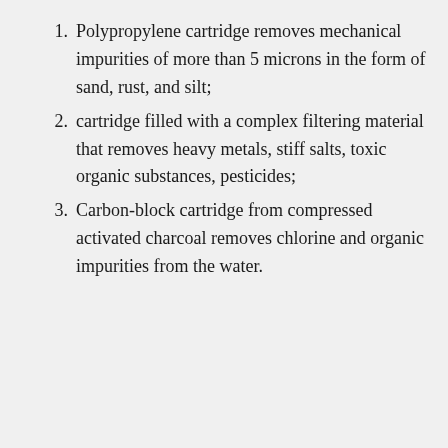Polypropylene cartridge removes mechanical impurities of more than 5 microns in the form of sand, rust, and silt;
cartridge filled with a complex filtering material that removes heavy metals, stiff salts, toxic organic substances, pesticides;
Carbon-block cartridge from compressed activated charcoal removes chlorine and organic impurities from the water.